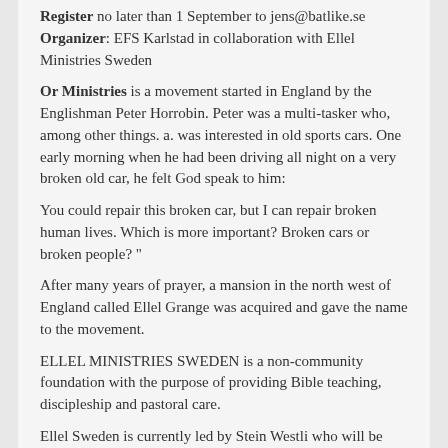Register no later than 1 September to jens@batlike.se
Organizer: EFS Karlstad in collaboration with Ellel Ministries Sweden
Or Ministries is a movement started in England by the Englishman Peter Horrobin. Peter was a multi-tasker who, among other things. a. was interested in old sports cars. One early morning when he had been driving all night on a very broken old car, he felt God speak to him:
You could repair this broken car, but I can repair broken human lives. Which is more important? Broken cars or broken people? "
After many years of prayer, a mansion in the north west of England called Ellel Grange was acquired and gave the name to the movement.
ELLEL MINISTRIES SWEDEN is a non-community foundation with the purpose of providing Bible teaching, discipleship and pastoral care.
Ellel Sweden is currently led by Stein Westli who will be responsible and one of the main speakers at the teaching weekend.